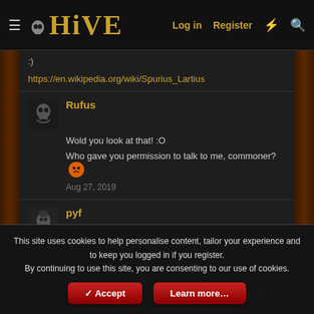HIVE — Log in | Register
:)
https://en.wikipedia.org/wiki/Spurius_Lartius
Rufus
Wold you look at that! :O
Who gave you permission to talk to me, commoner? 😠
Aug 27, 2019
pyf
...
...
...
https://4.bp.blogspot.com/-ZJvoYe6Xql4/UC425LmIOEI/AAAAAAAADg/-fHgZwvsfv4/s1600/Untitled.png
These Romans are crazy!
:D
This site uses cookies to help personalise content, tailor your experience and to keep you logged in if you register.
By continuing to use this site, you are consenting to our use of cookies.
Accept | Learn more...